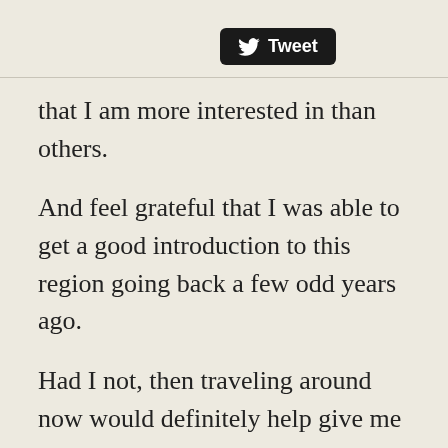[Figure (logo): Twitter Tweet button with bird logo, black rounded rectangle]
that I am more interested in than others.
And feel grateful that I was able to get a good introduction to this region going back a few odd years ago.
Had I not, then traveling around now would definitely help give me better real world experience